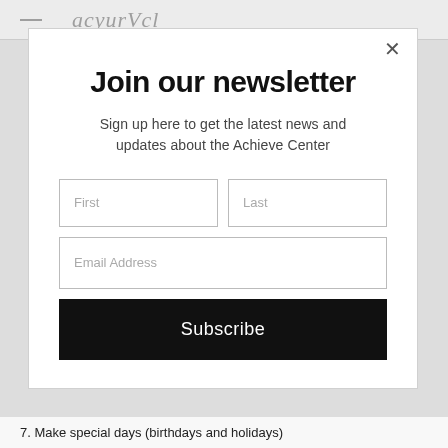— acyurVcl
Join our newsletter
Sign up here to get the latest news and updates about the Achieve Center
First
Last
Email Address
Subscribe
7. Make special days (birthdays and holidays)